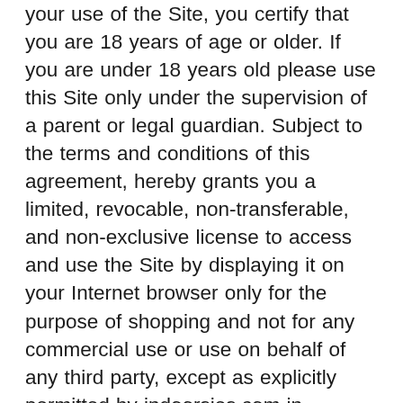your use of the Site, you certify that you are 18 years of age or older. If you are under 18 years old please use this Site only under the supervision of a parent or legal guardian. Subject to the terms and conditions of this agreement, hereby grants you a limited, revocable, non-transferable, and non-exclusive license to access and use the Site by displaying it on your Internet browser only for the purpose of shopping and not for any commercial use or use on behalf of any third party, except as explicitly permitted by indoorsies.com in advance. Any violation of this Agreement shall result in the immediate revocation of the license granted in this paragraph